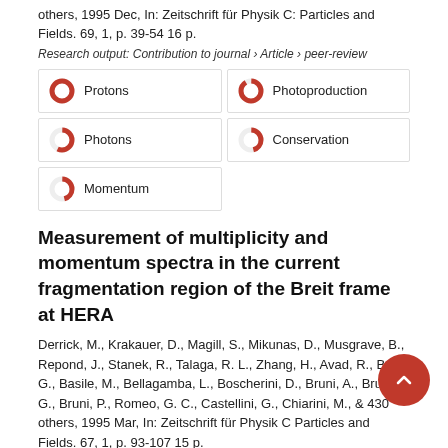others, 1995 Dec, In: Zeitschrift für Physik C: Particles and Fields. 69, 1, p. 39-54 16 p.
Research output: Contribution to journal › Article › peer-review
Protons (100%)
Photoproduction (91%)
Photons (57%)
Conservation (46%)
Momentum (46%)
Measurement of multiplicity and momentum spectra in the current fragmentation region of the Breit frame at HERA
Derrick, M., Krakauer, D., Magill, S., Mikunas, D., Musgrave, B., Repond, J., Stanek, R., Talaga, R. L., Zhang, H., Avad, R., Bari, G., Basile, M., Bellagamba, L., Boscherini, D., Bruni, A., Bruni, G., Bruni, P., Romeo, G. C., Castellini, G., Chiarini, M., & 430 others, 1995 Mar, In: Zeitschrift für Physik C Particles and Fields. 67, 1, p. 93-107 15 p.
Research output: Contribution to journal › Article › peer-review
Inelastic Scattering (100%)
Momentum (57%)